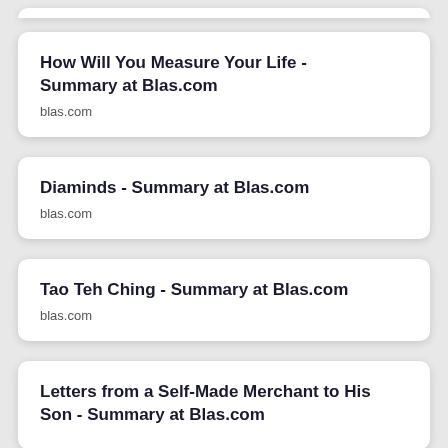How Will You Measure Your Life - Summary at Blas.com
blas.com
Diaminds - Summary at Blas.com
blas.com
Tao Teh Ching - Summary at Blas.com
blas.com
Letters from a Self-Made Merchant to His Son - Summary at Blas.com